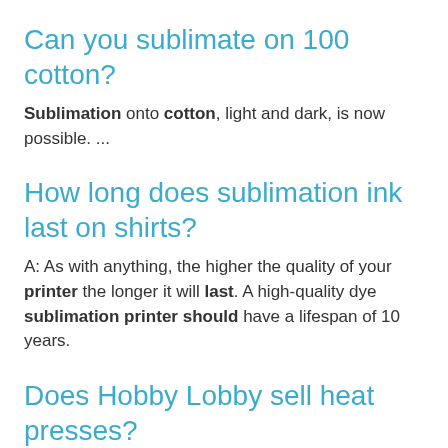Can you sublimate on 100 cotton?
Sublimation onto cotton, light and dark, is now possible. ...
How long does sublimation ink last on shirts?
A: As with anything, the higher the quality of your printer the longer it will last. A high-quality dye sublimation printer should have a lifespan of 10 years.
Does Hobby Lobby sell heat presses?
If you are using an ink jet printer and making